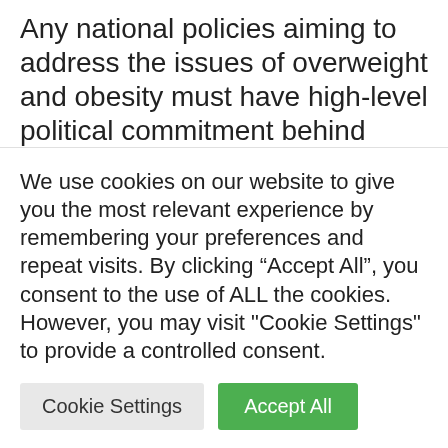Any national policies aiming to address the issues of overweight and obesity must have high-level political commitment behind them. They should also be comprehensive, reaching individuals across the life course and targeting inequalities. Efforts to prevent obesity need to consider the wider determinants of the disease, and policy options should move away from approaches that focus on individuals and address the
We use cookies on our website to give you the most relevant experience by remembering your preferences and repeat visits. By clicking “Accept All”, you consent to the use of ALL the cookies. However, you may visit "Cookie Settings" to provide a controlled consent.